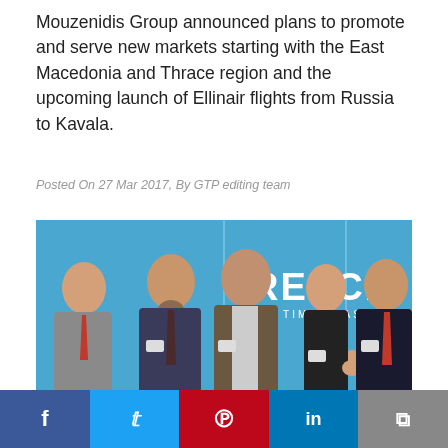Mouzenidis Group announced plans to promote and serve new markets starting with the East Macedonia and Thrace region and the upcoming launch of Ellinair flights from Russia to Kavala.
Posted On 27 Mar 2017, By GTP editing team
[Figure (photo): Five people posing in front of a blue GREECE ALL TIME CLASSIC backdrop at a travel/tourism event. Four men in suits and one woman in black giving a thumbs up.]
Facebook Twitter Pinterest LinkedIn Copy